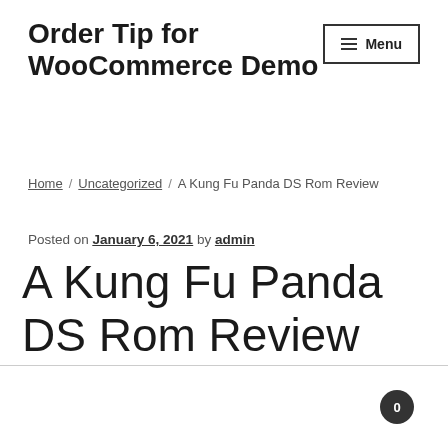Order Tip for WooCommerce Demo
Menu
Home / Uncategorized / A Kung Fu Panda DS Rom Review
Posted on January 6, 2021 by admin
A Kung Fu Panda DS Rom Review